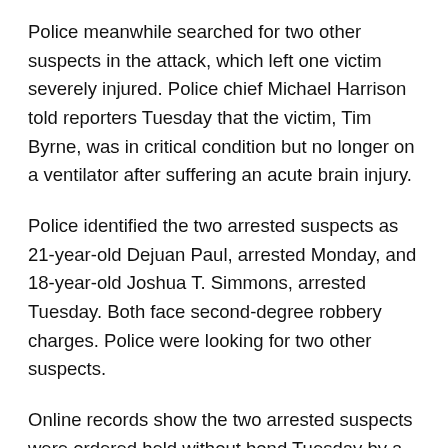Police meanwhile searched for two other suspects in the attack, which left one victim severely injured. Police chief Michael Harrison told reporters Tuesday that the victim, Tim Byrne, was in critical condition but no longer on a ventilator after suffering an acute brain injury.
Police identified the two arrested suspects as 21-year-old Dejuan Paul, arrested Monday, and 18-year-old Joshua T. Simmons, arrested Tuesday. Both face second-degree robbery charges. Police were looking for two other suspects.
Online records show the two arrested suspects were ordered held without bond Tuesday by a magistrate judge. They have not entered pleas. Their next court date is Friday.